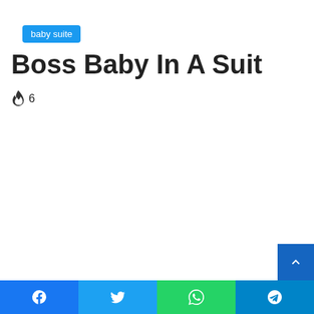baby suite
Boss Baby In A Suit
🔥 6
Facebook | Twitter | WhatsApp | Telegram share buttons